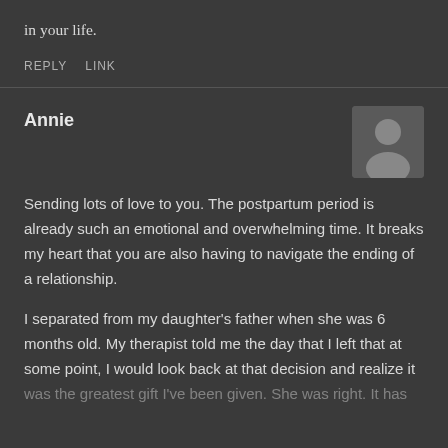in your life.
REPLY   LINK
Annie
Sending lots of love to you. The postpartum period is already such an emotional and overwhelming time. It breaks my heart that you are also having to navigate the ending of a relationship.
I separated from my daughter's father when she was 6 months old. My therapist told me the day that I left that at some point, I would look back at that decision and realize it was the greatest gift I've been given. She was right. It has